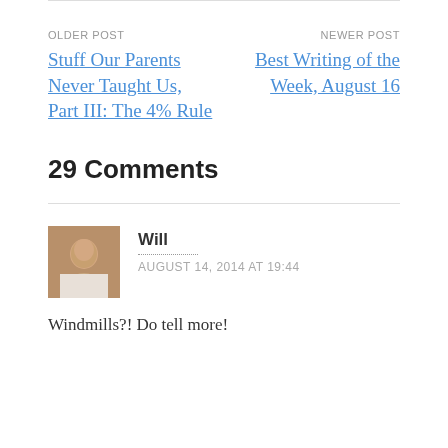OLDER POST
Stuff Our Parents Never Taught Us, Part III: The 4% Rule
NEWER POST
Best Writing of the Week, August 16
29 Comments
Will
AUGUST 14, 2014 AT 19:44
Windmills?! Do tell more!